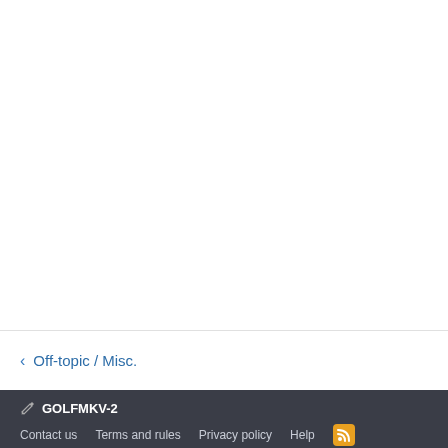< Off-topic / Misc.
✏ GOLFMKV-2
Contact us   Terms and rules   Privacy policy   Help   [RSS]
Community platform by XenForo® © 2010-2022 XenForo Ltd.